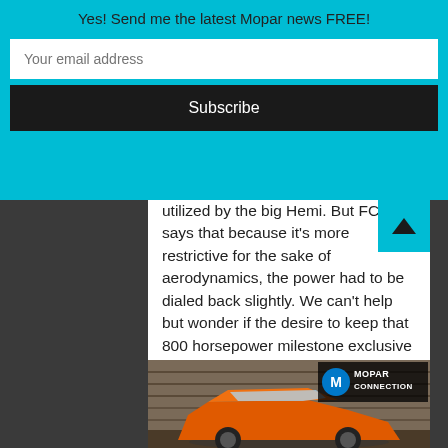Yes! Send me the latest Mopar news FREE!
utilized by the big Hemi. But FCA says that because it’s more restrictive for the sake of aerodynamics, the power had to be dialed back slightly. We can’t help but wonder if the desire to keep that 800 horsepower milestone exclusive to the Demon played a role too, though.
Eleven ponies notwithstanding, the 90hp bump from last year’s Hellcat Widebody translates to a 3.4-second dash to 60 mph from rest and a quarter mile time of 10.8 seconds @ 131 mph on the way to a 203 mph top speed.
[Figure (photo): Photo of a red/orange muscle car (Dodge Challenger) parked in front of a weathered wooden building, with Mopar Connection logo in the top right corner]